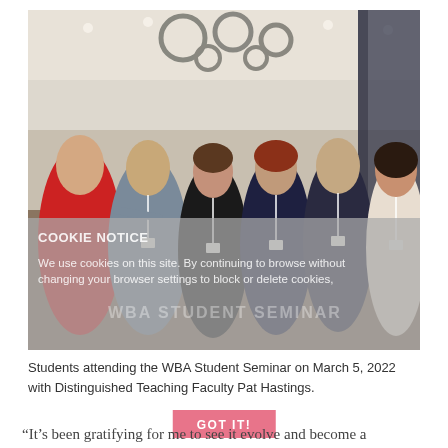[Figure (photo): Group photo of six students and faculty at the WBA Student Seminar on March 5, 2022, inside a conference room with circular chandeliers. Five women and one man wearing lanyards/name badges pose together smiling. A semi-transparent gray cookie notice overlay appears at the bottom of the photo: 'COOKIE NOTICE - We use cookies on this site. By continuing to browse without changing your browser settings to block or delete cookies.']
Students attending the WBA Student Seminar on March 5, 2022 with Distinguished Teaching Faculty Pat Hastings.
GOT IT!
“It’s been gratifying for me to see it evolve and become a